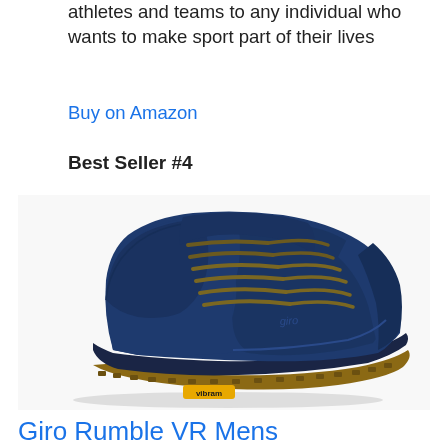athletes and teams to any individual who wants to make sport part of their lives
Buy on Amazon
Best Seller #4
[Figure (photo): A navy blue Giro Rumble VR cycling/mountain bike shoe with olive/tan laces, mesh upper, Vibram gum rubber sole, and a white midsole strip. The Giro logo is visible on the side. The shoe is photographed at an angle on a white background.]
Giro Rumble VR Mens